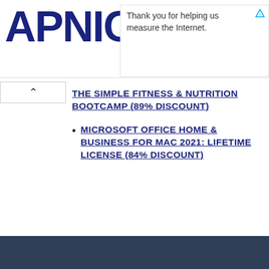APNIC | Thank you for helping us measure the Internet.
THE SIMPLE FITNESS & NUTRITION BOOTCAMP (89% DISCOUNT)
MICROSOFT OFFICE HOME & BUSINESS FOR MAC 2021: LIFETIME LICENSE (84% DISCOUNT)